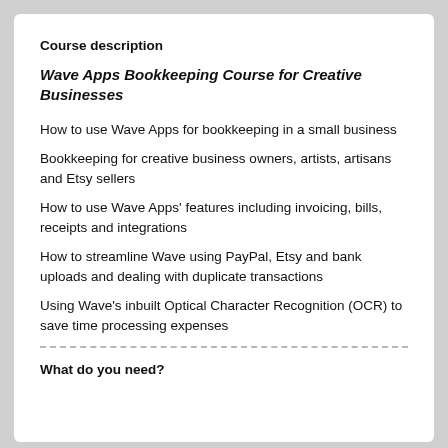Course description
Wave Apps Bookkeeping Course for Creative Businesses
How to use Wave Apps for bookkeeping in a small business
Bookkeeping for creative business owners, artists, artisans and Etsy sellers
How to use Wave Apps' features including invoicing, bills, receipts and integrations
How to streamline Wave using PayPal, Etsy and bank uploads and dealing with duplicate transactions
Using Wave's inbuilt Optical Character Recognition (OCR) to save time processing expenses
What do you need?